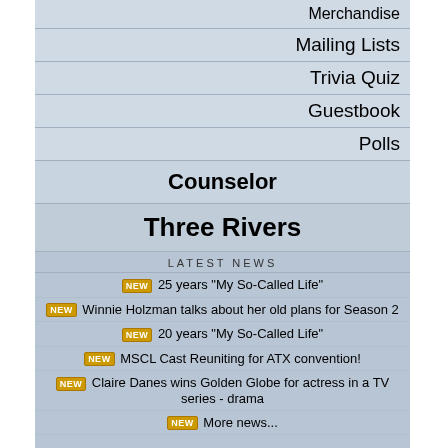Merchandise
Mailing Lists
Trivia Quiz
Guestbook
Polls
Counselor
Three Rivers
LATEST NEWS
25 years "My So-Called Life"
Winnie Holzman talks about her old plans for Season 2
20 years "My So-Called Life"
MSCL Cast Reuniting for ATX convention!
Claire Danes wins Golden Globe for actress in a TV series - drama
More news...
The Chase's cat?
A short, nice and rare interview with the actors who played Kyle, Corey and Abyssinia